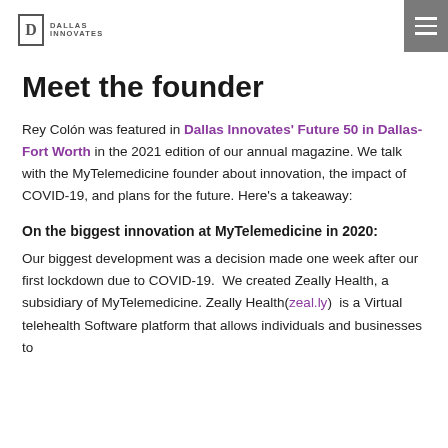Dallas Innovates
Meet the founder
Rey Colón was featured in Dallas Innovates' Future 50 in Dallas-Fort Worth in the 2021 edition of our annual magazine. We talk with the MyTelemedicine founder about innovation, the impact of COVID-19, and plans for the future. Here's a takeaway:
On the biggest innovation at MyTelemedicine in 2020:
Our biggest development was a decision made one week after our first lockdown due to COVID-19.  We created Zeally Health, a subsidiary of MyTelemedicine. Zeally Health(zeal.ly)  is a Virtual telehealth Software platform that allows individuals and businesses to...